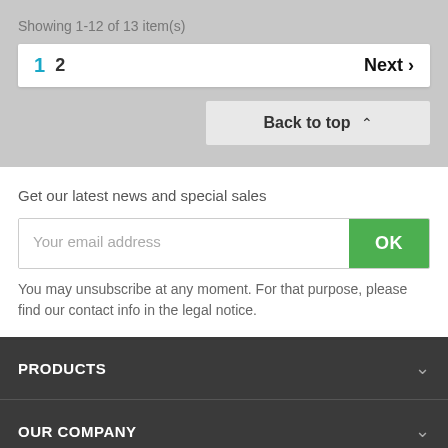Showing 1-12 of 13 item(s)
1  2  Next >
Back to top ^
Get our latest news and special sales
Your email address
OK
You may unsubscribe at any moment. For that purpose, please find our contact info in the legal notice.
PRODUCTS
OUR COMPANY